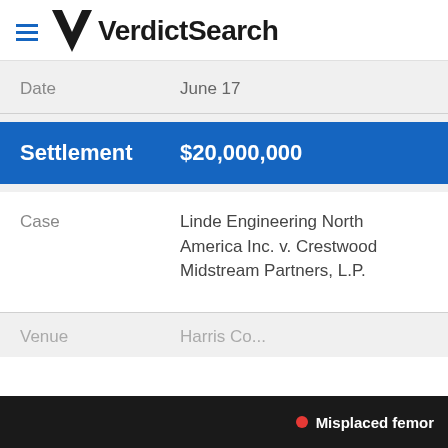VerdictSearch
| Field | Value |
| --- | --- |
| Date | June 17 |
| Settlement | $20,000,000 |
| Case | Linde Engineering North America Inc. v. Crestwood Midstream Partners, L.P. |
| Venue | Harris Co... |
Misplaced femor